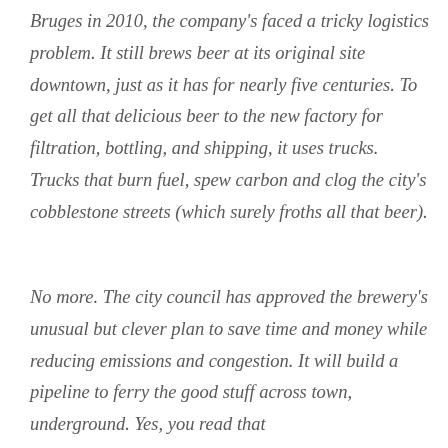Bruges in 2010, the company's faced a tricky logistics problem. It still brews beer at its original site downtown, just as it has for nearly five centuries. To get all that delicious beer to the new factory for filtration, bottling, and shipping, it uses trucks. Trucks that burn fuel, spew carbon and clog the city's cobblestone streets (which surely froths all that beer).
No more. The city council has approved the brewery's unusual but clever plan to save time and money while reducing emissions and congestion. It will build a pipeline to ferry the good stuff across town, underground. Yes, you read that